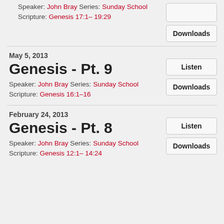Speaker: John Bray Series: Sunday School Scripture: Genesis 17:1– 19:29
May 5, 2013
Genesis - Pt. 9
Speaker: John Bray Series: Sunday School Scripture: Genesis 16:1–16
February 24, 2013
Genesis - Pt. 8
Speaker: John Bray Series: Sunday School Scripture: Genesis 12:1– 14:24